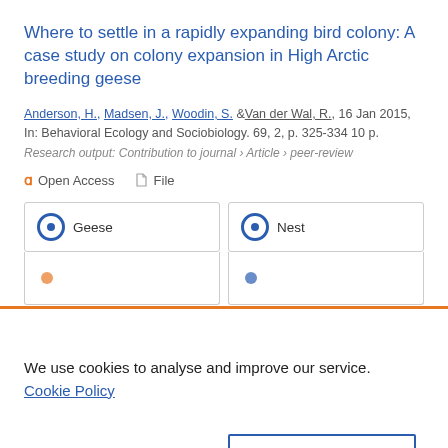Where to settle in a rapidly expanding bird colony: A case study on colony expansion in High Arctic breeding geese
Anderson, H., Madsen, J., Woodin, S. & Van der Wal, R., 16 Jan 2015, In: Behavioral Ecology and Sociobiology. 69, 2, p. 325-334 10 p.
Research output: Contribution to journal › Article › peer-review
Open Access   File
Geese   Nest
We use cookies to analyse and improve our service. Cookie Policy
Cookies Settings   Accept All Cookies